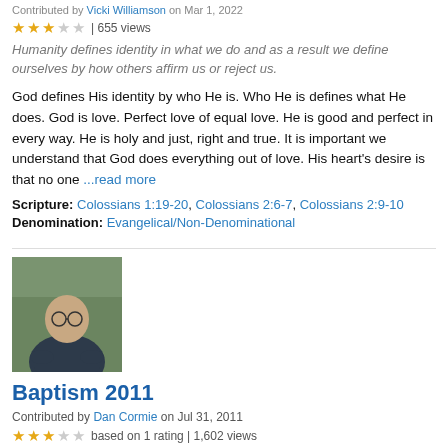Contributed by Vicki Williamson on Mar 1, 2022
★★★☆☆ | 655 views
Humanity defines identity in what we do and as a result we define ourselves by how others affirm us or reject us.
God defines His identity by who He is. Who He is defines what He does. God is love. Perfect love of equal love. He is good and perfect in every way. He is holy and just, right and true. It is important we understand that God does everything out of love. His heart's desire is that no one ...read more
Scripture: Colossians 1:19-20, Colossians 2:6-7, Colossians 2:9-10
Denomination: Evangelical/Non-Denominational
[Figure (photo): Photo of a bald man with glasses wearing a dark shirt, standing outdoors with greenery in background]
Baptism 2011
Contributed by Dan Cormie on Jul 31, 2011
★★★☆☆ based on 1 rating | 1,602 views